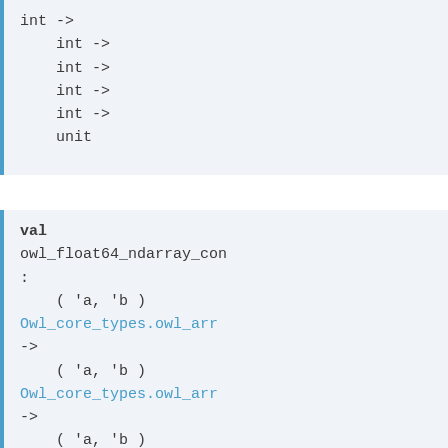int ->
    int ->
    int ->
    int ->
    int ->
    unit
val
owl_float64_ndarray_con
:
    ( 'a, 'b )
Owl_core_types.owl_arr
->
    ( 'a, 'b )
Owl_core_types.owl_arr
->
    ( 'a, 'b )
Owl_core_types.owl_arr
->